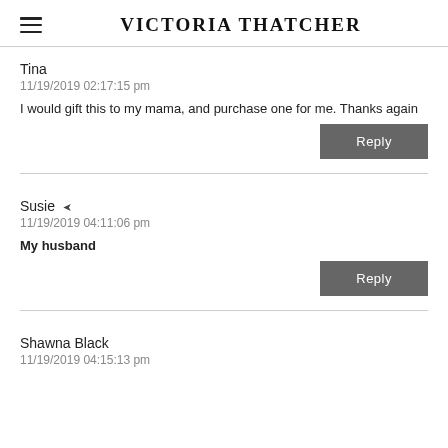VICTORIA THATCHER
Tina
11/19/2019 02:17:15 pm
I would gift this to my mama, and purchase one for me. Thanks again
Reply
Susie
11/19/2019 04:11:06 pm
My husband
Reply
Shawna Black
11/19/2019 04:15:13 pm